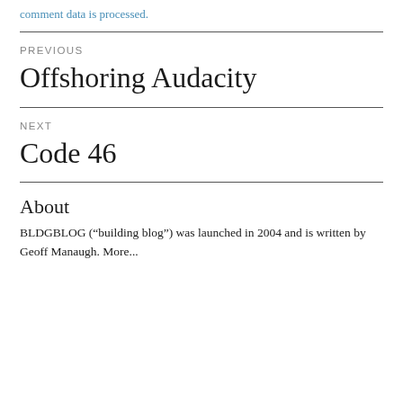comment data is processed.
PREVIOUS
Offshoring Audacity
NEXT
Code 46
About
BLDGBLOG (“building blog”) was launched in 2004 and is written by Geoff Manaugh. More...